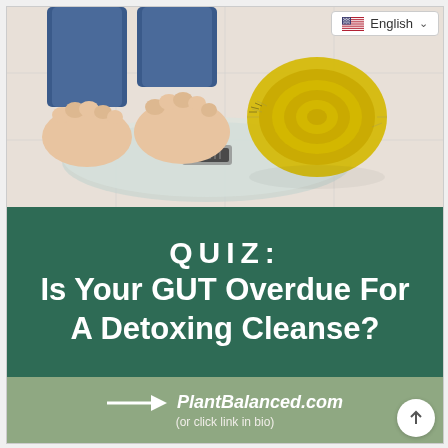[Figure (photo): Person's feet standing on a glass bathroom scale with a yellow tape measure coiled to the right, on a tiled floor]
QUIZ:
Is Your GUT Overdue For A Detoxing Cleanse?
→ PlantBalanced.com
(or click link in bio)